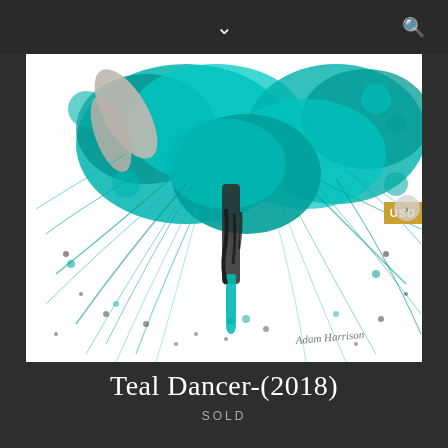navigation bar with chevron and search icon
[Figure (illustration): Artwork titled Teal Dancer (2018) showing a dancer with teal/turquoise paint splashing around in an explosive abstract style, with dripping paint and fine ink-like lines on a white background. Artist signature visible in lower right.]
Teal Dancer-(2018)
SOLD